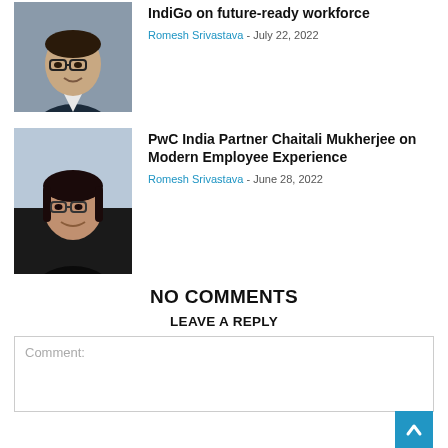[Figure (photo): Headshot of a man wearing glasses and a dark jacket, smiling]
IndiGo on future-ready workforce
Romesh Srivastava - July 22, 2022
[Figure (photo): Headshot of a woman wearing glasses and a dark jacket, smiling]
PwC India Partner Chaitali Mukherjee on Modern Employee Experience
Romesh Srivastava - June 28, 2022
NO COMMENTS
LEAVE A REPLY
Comment: